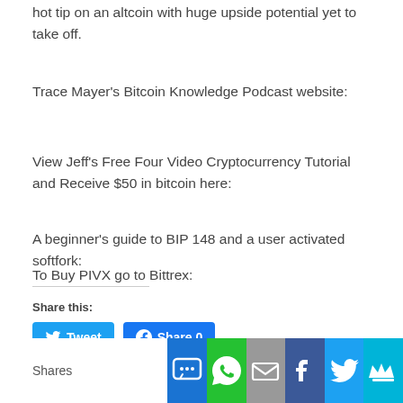hot tip on an altcoin with huge upside potential yet to take off.
Trace Mayer's Bitcoin Knowledge Podcast website:
View Jeff's Free Four Video Cryptocurrency Tutorial and Receive $50 in bitcoin here:
A beginner's guide to BIP 148 and a user activated softfork:
To Buy PIVX go to Bittrex:
Share this:
[Figure (other): Tweet and Facebook Share buttons]
[Figure (other): Social share icon bar with SMS, WhatsApp, Email, Facebook, Twitter, and crown icons. Shares label on left.]